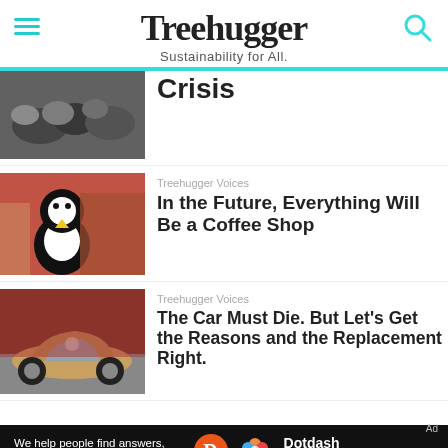Treehugger — Sustainability for All.
[Figure (photo): Black and white photo of animals (birds or small animals) in a pile]
Crisis
[Figure (photo): Person in a penguin costume on a city street]
Treehugger Voices
In the Future, Everything Will Be a Coffee Shop
[Figure (photo): BMW sports car at an auto show]
Treehugger Voices
The Car Must Die. But Let's Get the Reasons and the Replacement Right.
We help people find answers, solve problems and get inspired.
Dotdash meredith